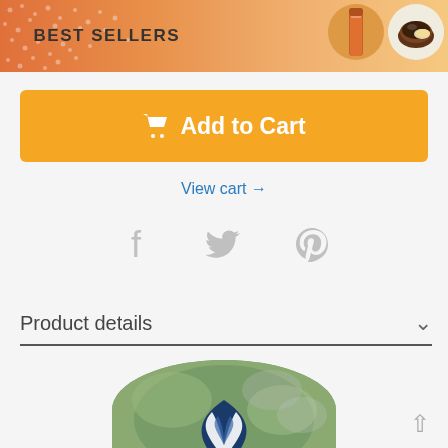BEST SELLERS
Add to Cart
View cart →
[Figure (infographic): Social share icons: Facebook (f), Twitter (bird), Pinterest (p) in gray]
Product details
[Figure (photo): Circular cropped product photo showing a blue and white logo item on green/bokeh background]